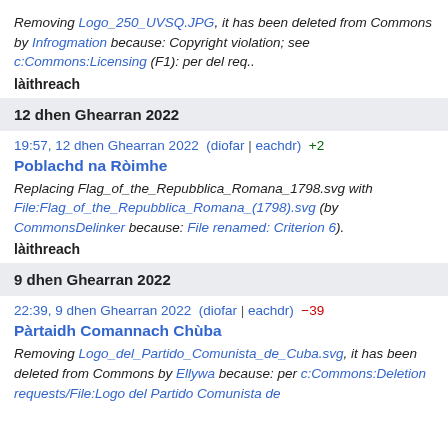Removing Logo_250_UVSQ.JPG, it has been deleted from Commons by Infrogmation because: Copyright violation; see c:Commons:Licensing (F1): per del req..
làithreach
12 dhen Ghearran 2022
19:57, 12 dhen Ghearran 2022  (diofar | eachdr)  +2
Poblachd na Ròimhe
Replacing Flag_of_the_Repubblica_Romana_1798.svg with File:Flag_of_the_Repubblica_Romana_(1798).svg (by CommonsDelinker because: File renamed: Criterion 6).
làithreach
9 dhen Ghearran 2022
22:39, 9 dhen Ghearran 2022  (diofar | eachdr)  −39
Pàrtaidh Comannach Chùba
Removing Logo_del_Partido_Comunista_de_Cuba.svg, it has been deleted from Commons by Ellywa because: per c:Commons:Deletion requests/File:Logo del Partido Comunista de